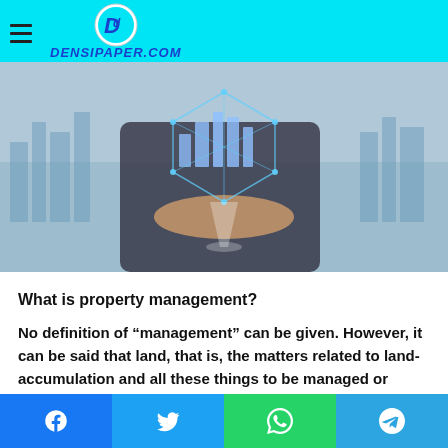DENSIPAPER.COM
[Figure (photo): A person in a suit holding a glowing digital city model with network connections, with a blurred cityscape in the background.]
What is property management?
No definition of “management” can be given. However, it can be said that land, that is, the matters related to land-accumulation and all these things to be managed or